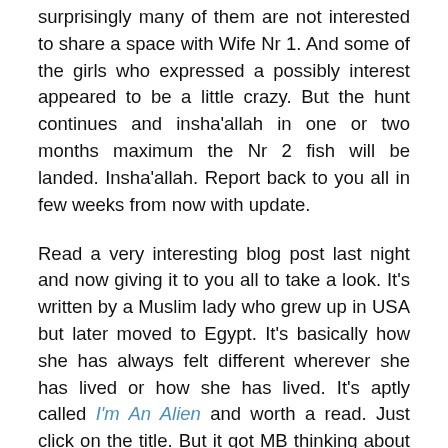surprisingly many of them are not interested to share a space with Wife Nr 1. And some of the girls who expressed a possibly interest appeared to be a little crazy. But the hunt continues and insha'allah in one or two months maximum the Nr 2 fish will be landed. Insha'allah. Report back to you all in few weeks from now with update.
Read a very interesting blog post last night and now giving it to you all to take a look. It's written by a Muslim lady who grew up in USA but later moved to Egypt. It's basically how she has always felt different wherever she has lived or how she has lived. It's aptly called I'm An Alien and worth a read. Just click on the title. But it got MB thinking about his recent years out this neck of the wood and all the characters he has come across.
Of course the cultures out here are totally different from